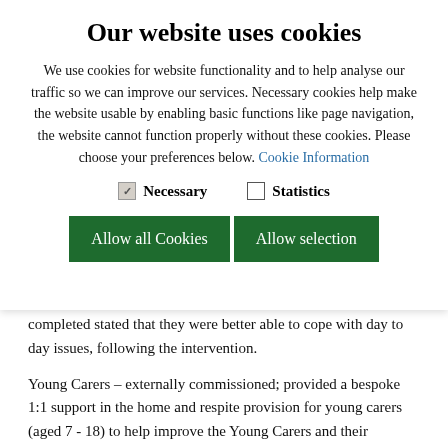Our website uses cookies
We use cookies for website functionality and to help analyse our traffic so we can improve our services. Necessary cookies help make the website usable by enabling basic functions like page navigation, the website cannot function properly without these cookies. Please choose your preferences below. Cookie Information
Necessary   Statistics
Allow all Cookies   Allow selection
an accreditation from the programme. 97% of the students who completed stated that they were better able to cope with day to day issues, following the intervention.
Young Carers – externally commissioned; provided a bespoke 1:1 support in the home and respite provision for young carers (aged 7 - 18) to help improve the Young Carers and their families' resilience.  53 Young Carers accessed the project, 18 received 1:1 support in the home.  94% stated they felt less isolated as a result of accessing the project and that the programme had improved at least one aspect of